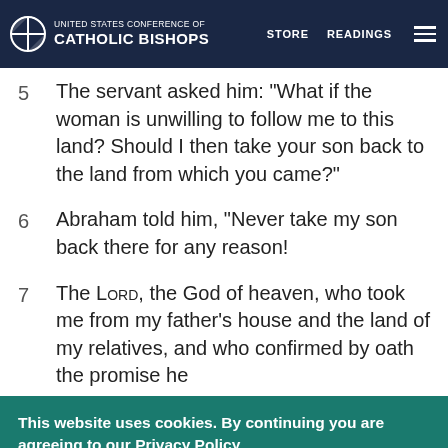UNITED STATES CONFERENCE OF CATHOLIC BISHOPS — STORE   READINGS
5   The servant asked him: "What if the woman is unwilling to follow me to this land? Should I then take your son back to the land from which you came?"
6   Abraham told him, “Never take my son back there for any reason!
7   The Lord, the God of heaven, who took me from my father’s house and the land of my relatives, and who confirmed by oath the promise he
This website uses cookies. By continuing you are agreeing to our Privacy Policy
CLOSE  X